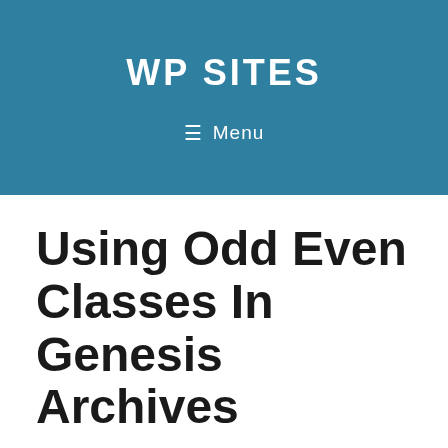WP SITES
≡ Menu
Using Odd Even Classes In Genesis Archives
This PHP code adds odd even classes to your posts in any archive type ( loop ) in any WordPress